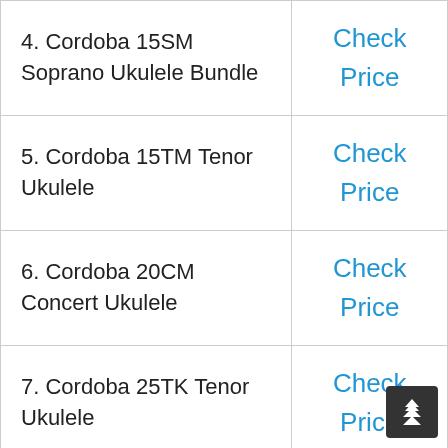| Product | Link |
| --- | --- |
| 4. Cordoba 15SM Soprano Ukulele Bundle | Check Price |
| 5. Cordoba 15TM Tenor Ukulele | Check Price |
| 6. Cordoba 20CM Concert Ukulele | Check Price |
| 7. Cordoba 25TK Tenor Ukulele | Check Price |
| 8. Cordoba 30T All Solid Tenor Ukulele | Check Price |